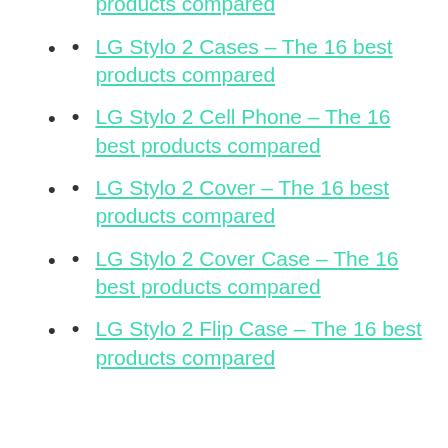LG Stylo 2 Case – The 16 best products compared
LG Stylo 2 Cases – The 16 best products compared
LG Stylo 2 Cell Phone – The 16 best products compared
LG Stylo 2 Cover – The 16 best products compared
LG Stylo 2 Cover Case – The 16 best products compared
LG Stylo 2 Flip Case – The 16 best products compared